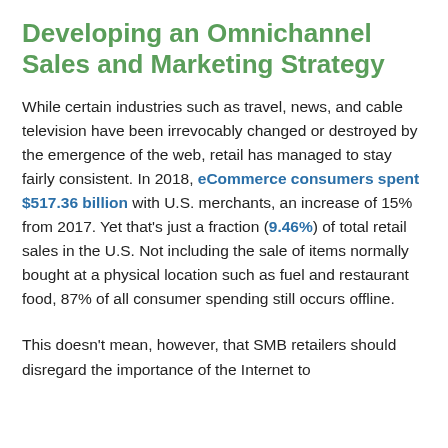Developing an Omnichannel Sales and Marketing Strategy
While certain industries such as travel, news, and cable television have been irrevocably changed or destroyed by the emergence of the web, retail has managed to stay fairly consistent. In 2018, eCommerce consumers spent $517.36 billion with U.S. merchants, an increase of 15% from 2017. Yet that's just a fraction (9.46%) of total retail sales in the U.S. Not including the sale of items normally bought at a physical location such as fuel and restaurant food, 87% of all consumer spending still occurs offline.
This doesn't mean, however, that SMB retailers should disregard the importance of the Internet to